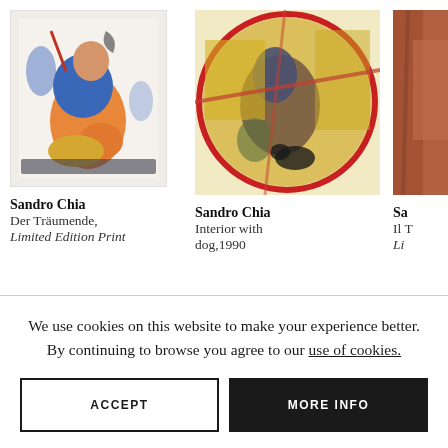[Figure (photo): Sandro Chia artwork - Der Träumende, colorful figure seated, blue and orange tones with crescent moon]
[Figure (photo): Sandro Chia artwork - Interior with dog, 1990, circular composition with figure and dog in yellow and red tones]
[Figure (photo): Sandro Chia artwork - partial view, reddish/brown tones]
Sandro Chia
Der Träumende,
Limited Edition Print
Sandro Chia
Interior with dog,1990
Sa
Il T
Li
We use cookies on this website to make your experience better. By continuing to browse you agree to our use of cookies.
ACCEPT
MORE INFO